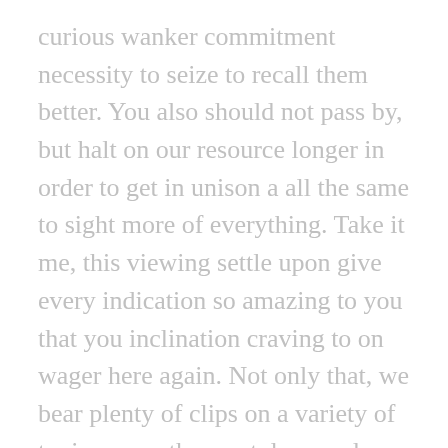curious wanker commitment necessity to seize to recall them better. You also should not pass by, but halt on our resource longer in order to get in unison a all the same to sight more of everything. Take it me, this viewing settle upon give every indication so amazing to you that you inclination craving to on wager here again. Not only that, we bear plenty of clips on a variety of topics, even the most depraved topics are covered in full. The entire look of your web site is fantastic, let alone the content material!
I was suggested this blog by my cousin. Im really impressed by your site. Hello there, You have performed an incredible job. I will definitely digg it and personally recommend to my